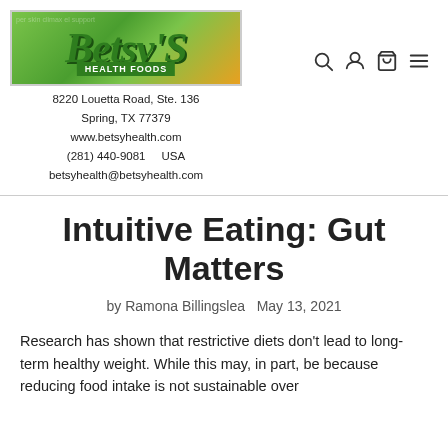[Figure (logo): Betsy's Health Foods logo banner with green text and health foods label]
8220 Louetta Road, Ste. 136
Spring, TX 77379
www.betsyhealth.com
(281) 440-9081      USA
betsyhealth@betsyhealth.com
Intuitive Eating: Gut Matters
by Ramona Billingslea   May 13, 2021
Research has shown that restrictive diets don't lead to long-term healthy weight. While this may, in part, be because reducing food intake is not sustainable over